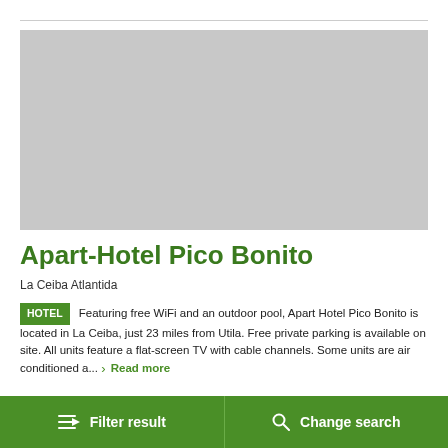[Figure (photo): Gray placeholder image for Apart-Hotel Pico Bonito]
Apart-Hotel Pico Bonito
La Ceiba Atlantida
HOTEL Featuring free WiFi and an outdoor pool, Apart Hotel Pico Bonito is located in La Ceiba, just 23 miles from Utila. Free private parking is available on site. All units feature a flat-screen TV with cable channels. Some units are air conditioned a... Read more
[Figure (screenshot): Green Reviews button partially visible]
Filter result   Change search